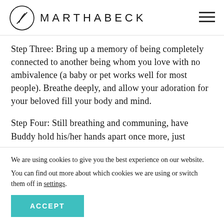MARTHABECK
Step Three: Bring up a memory of being completely connected to another being whom you love with no ambivalence (a baby or pet works well for most people). Breathe deeply, and allow your adoration for your beloved fill your body and mind.
Step Four: Still breathing and communing, have Buddy hold his/her hands apart once more, just
We are using cookies to give you the best experience on our website.
You can find out more about which cookies we are using or switch them off in settings.
ACCEPT